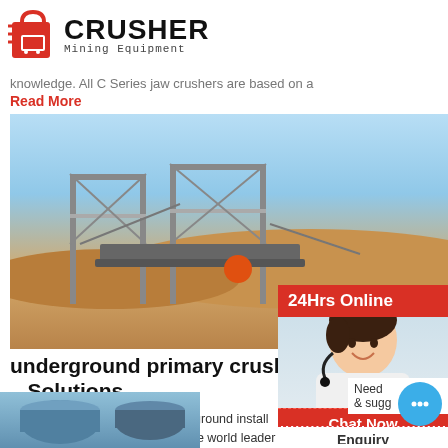[Figure (logo): Crusher Mining Equipment logo with red shopping bag icon and bold CRUSHER text]
knowledge. All C Series jaw crushers are based on a
Read More
[Figure (photo): Outdoor industrial crusher installation in a sandy/desert environment with steel framework structures]
underground primary crusher inst - Solutions
Install jaw gyratory crusher underground install crusher underground tecman is the world leader breaker solutions for jaw crusher applications th can installed to new and existing plants anywhes heavyduty systems designed for high production crusher installations with a hydraulic rock break
Read More
[Figure (photo): Bottom partial image of industrial equipment]
[Figure (photo): Sidebar: 24Hrs Online banner with customer service representative wearing headset and chat bubble overlay]
Need & sugg
Chat Now
Enquiry
limingjlmofen@sina.com